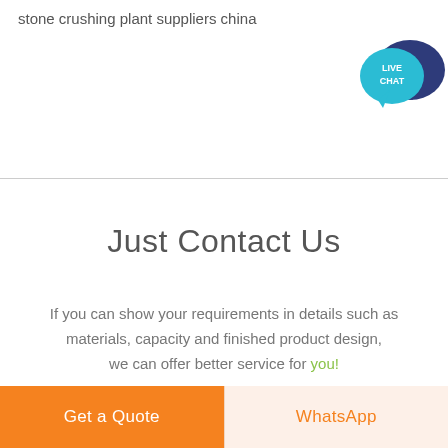stone crushing plant suppliers china
[Figure (illustration): Live Chat icon: a teal speech bubble with 'LIVE CHAT' text and a dark navy larger speech bubble behind it]
Just Contact Us
If you can show your requirements in details such as materials, capacity and finished product design, we can offer better service for you!
Get a Quote
WhatsApp